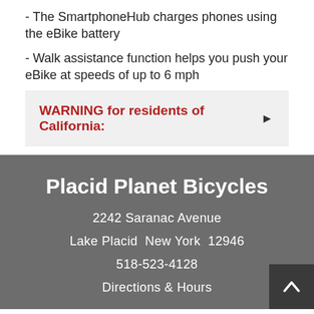- The SmartphoneHub charges phones using the eBike battery
- Walk assistance function helps you push your eBike at speeds of up to 6 mph
WARNING for residents of California:
Placid Planet Bicycles
2242 Saranac Avenue
Lake Placid  New York  12946
518-523-4128
Directions & Hours